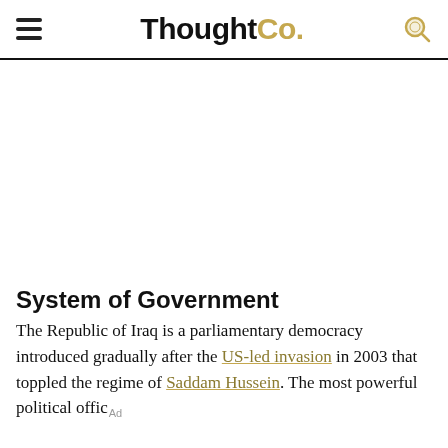ThoughtCo.
[Figure (other): Advertisement placeholder area (blank white space)]
System of Government
The Republic of Iraq is a parliamentary democracy introduced gradually after the US-led invasion in 2003 that toppled the regime of Saddam Hussein. The most powerful political offic